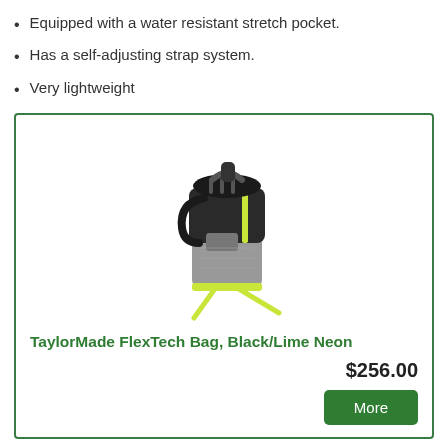Equipped with a water resistant stretch pocket.
Has a self-adjusting strap system.
Very lightweight
[Figure (photo): TaylorMade FlexTech golf stand bag in black, grey and lime neon yellow color scheme, shown with legs extended]
TaylorMade FlexTech Bag, Black/Lime Neon
$256.00
More